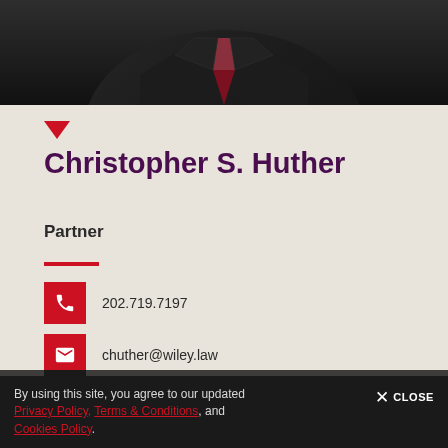[Figure (photo): Professional headshot photo of Christopher S. Huther in a dark suit with a dark red tie, cropped to show upper torso only]
Christopher S. Huther
Partner
202.719.7197
chuther@wiley.law
vCard
Download PDF
By using this site, you agree to our updated Privacy Policy, Terms & Conditions, and Cookies Policy.